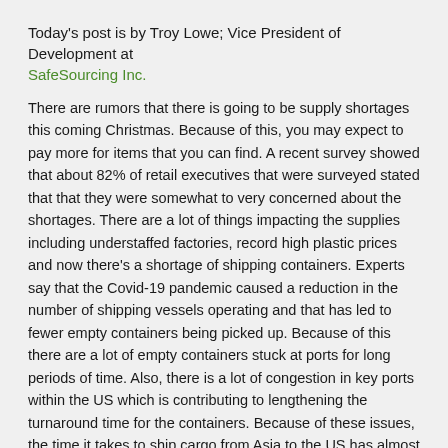Today's post is by Troy Lowe; Vice President of Development at SafeSourcing Inc.
There are rumors that there is going to be supply shortages this coming Christmas.  Because of this, you may expect to pay more for items that you can find.  A recent survey showed that about 82% of retail executives that were surveyed stated that that they were somewhat to very concerned about the shortages.  There are a lot of things impacting the supplies including understaffed factories, record high plastic prices and now there's a shortage of shipping containers.  Experts say that the Covid-19 pandemic caused a reduction in the number of shipping vessels operating and that has led to fewer empty containers being picked up.  Because of this there are a lot of empty containers stuck at ports for long periods of time.  Also, there is a lot of congestion in key ports within the US which is contributing to lengthening the turnaround time for the containers.  Because of these issues, the time it takes to ship cargo from Asia to the US has almost doubled during the pandemic.  Below is a list of some of the items that may be in less selection and with higher prices.
Toys
Wrapping Paper
Gift Boxes
Gift Bags
Gaming Consoles
Televisions
Automobiles